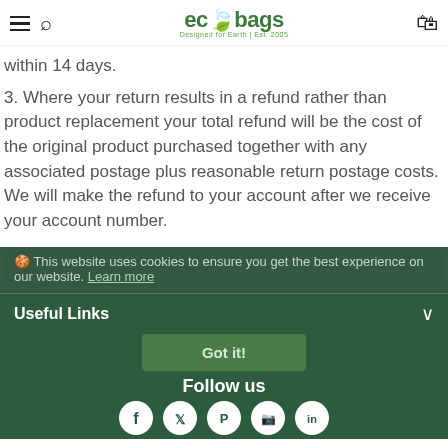ecobags - Designed for Earth | Est. 2005
within 14 days.
3. Where your return results in a refund rather than product replacement your total refund will be the cost of the original product purchased together with any associated postage plus reasonable return postage costs. We will make the refund to your account after we receive your account number.
🍪 This website uses cookies to ensure you get the best experience on our website. Learn more
Useful Links
Got it!
Follow us